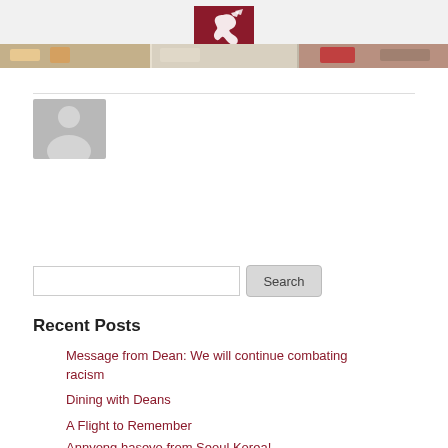[Figure (logo): University logo: white dragon/animal silhouette on dark red/maroon rectangular background]
[Figure (photo): Horizontal photo strip showing food/dining images]
[Figure (photo): Default grey user avatar/profile placeholder image with silhouette of a person]
Search
Recent Posts
Message from Dean: We will continue combating racism
Dining with Deans
A Flight to Remember
Annyong haseyo from Seoul Korea!